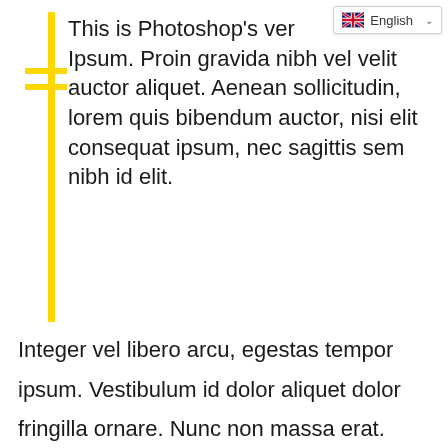[Figure (screenshot): Language selector dropdown UI element showing British flag and 'English' text with a chevron/dropdown arrow]
This is Photoshop's ver… Ipsum. Proin gravida nibh vel velit auctor aliquet. Aenean sollicitudin, lorem quis bibendum auctor, nisi elit consequat ipsum, nec sagittis sem nibh id elit.
Integer vel libero arcu, egestas tempor ipsum. Vestibulum id dolor aliquet dolor fringilla ornare. Nunc non massa erat. Vivamus odio sem, rhoncus vel bibendum vitae, euismod a urna. Aliquam erat volutpat. Aenean non lorem arcu. Phasellus in neque nulla, sed sodales ipsum. Morbi a massa sed sapien vulputate lacinia. Vivamus et urna vitae felis malesuada aliquet sit amet et metus.